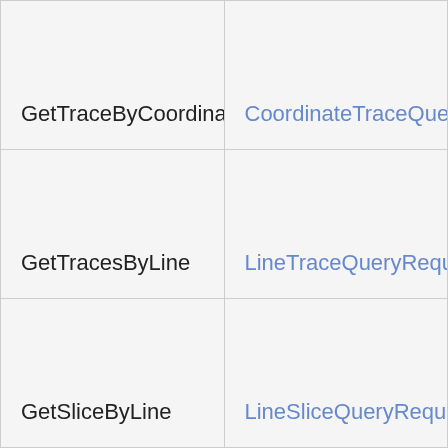| GetTraceByCoordinates | CoordinateTraceQueryRequ… |
| GetTracesByLine | LineTraceQueryRequest str… |
| GetSliceByLine | LineSliceQueryRequest |